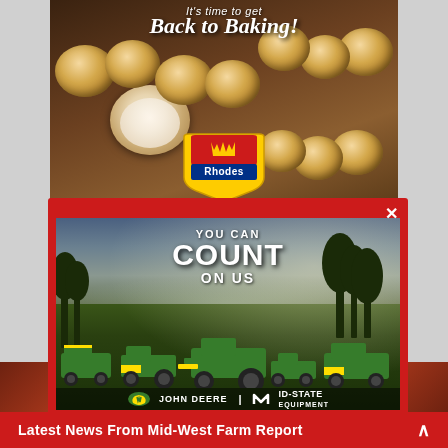[Figure (photo): Rhodes Bake-N-Serv advertisement showing cinnamon rolls and dinner rolls with text 'It's time to get Back to Baking!' and the Rhodes logo badge]
[Figure (photo): John Deere Mid-State Equipment advertisement with text 'YOU CAN COUNT ON US' overlaid on a nighttime field scene with multiple John Deere tractors and equipment. Has a red modal background with close (X) button.]
Latest News From Mid-West Farm Report